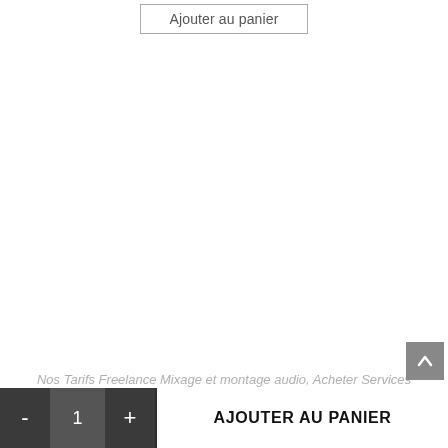[Figure (screenshot): A button labeled 'Ajouter au panier' with a rectangular border, positioned at the top center of the page.]
Nos Tarifs Freelance Mixage et montage audio, Acheter Services Audiovisuels pour Site Internet
Mon freelance : Mastering 11 pistes audio de 3h00
[Figure (screenshot): A bottom action bar with dark background containing a quantity selector (minus button, value '1', plus button) and a white 'AJOUTER AU PANIER' button. A scroll-up arrow button appears above the bar on the right.]